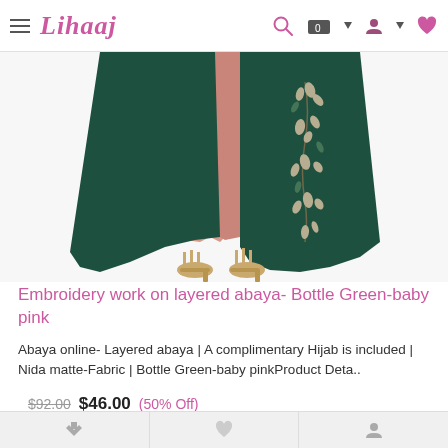Lihaaj
[Figure (photo): Lower half of a model wearing a layered abaya in bottle green over a baby pink inner layer, with floral embroidery on the green outer layer, wearing gold heeled sandals]
Embroidery work on layered abaya- Bottle Green-baby pink
Abaya online- Layered abaya | A complimentary Hijab is included | Nida matte-Fabric | Bottle Green-baby pinkProduct Deta..
$92.00 $46.00 (50% Off)